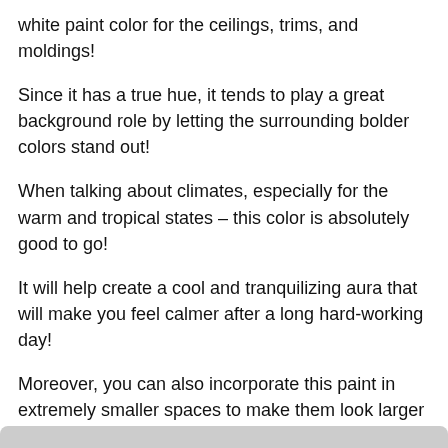white paint color for the ceilings, trims, and moldings!
Since it has a true hue, it tends to play a great background role by letting the surrounding bolder colors stand out!
When talking about climates, especially for the warm and tropical states – this color is absolutely good to go!
It will help create a cool and tranquilizing aura that will make you feel calmer after a long hard-working day!
Moreover, you can also incorporate this paint in extremely smaller spaces to make them look larger as they have an ultra-high reflectivity.
How Does Light Affect the Color?
[Figure (other): Gray bar at bottom of page, partial image]